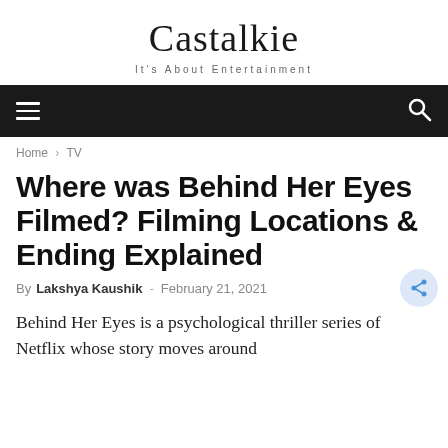Castalkie
It's About Entertainment
Home › TV
Where was Behind Her Eyes Filmed? Filming Locations & Ending Explained
By Lakshya Kaushik - February 21, 2021
Behind Her Eyes is a psychological thriller series of Netflix whose story moves around hovering around the...